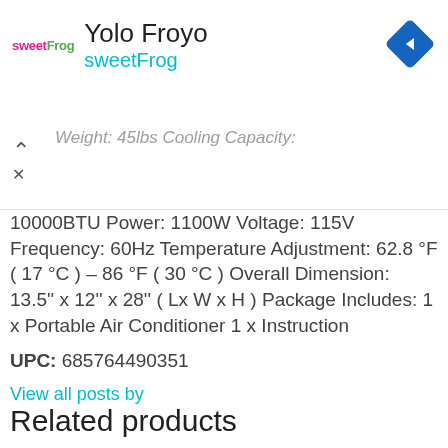Yolo Froyo sweetFrog
Weight: 45lbs Cooling Capacity: 10000BTU Power: 1100W Voltage: 115V Frequency: 60Hz Temperature Adjustment: 62.8 °F ( 17 °C ) – 86 °F ( 30 °C ) Overall Dimension: 13.5'' x 12'' x 28'' ( Lx W x H ) Package Includes: 1 x Portable Air Conditioner 1 x Instruction
UPC: 685764490351
View all posts by
Related products